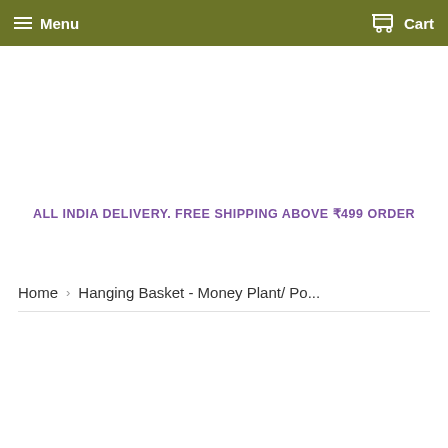Menu  Cart
ALL INDIA DELIVERY. FREE SHIPPING ABOVE ₹499 ORDER
Home › Hanging Basket - Money Plant/ Po...